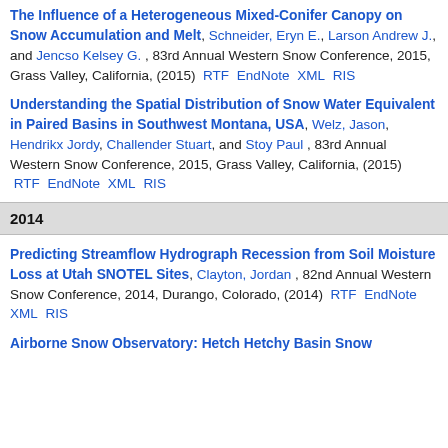The Influence of a Heterogeneous Mixed-Conifer Canopy on Snow Accumulation and Melt, Schneider, Eryn E., Larson Andrew J., and Jencso Kelsey G., 83rd Annual Western Snow Conference, 2015, Grass Valley, California, (2015) RTF EndNote XML RIS
Understanding the Spatial Distribution of Snow Water Equivalent in Paired Basins in Southwest Montana, USA, Welz, Jason, Hendrikx Jordy, Challender Stuart, and Stoy Paul, 83rd Annual Western Snow Conference, 2015, Grass Valley, California, (2015) RTF EndNote XML RIS
2014
Predicting Streamflow Hydrograph Recession from Soil Moisture Loss at Utah SNOTEL Sites, Clayton, Jordan, 82nd Annual Western Snow Conference, 2014, Durango, Colorado, (2014) RTF EndNote XML RIS
Airborne Snow Observatory: Hetch Hetchy Basin Snow